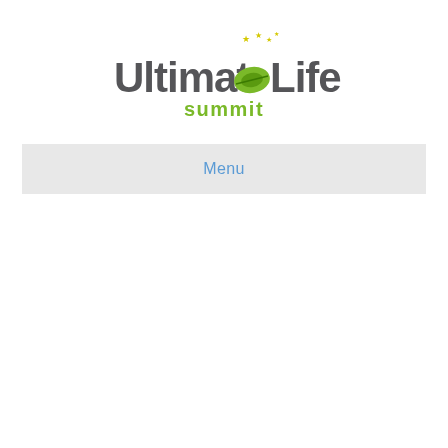[Figure (logo): Ultimate Life Summit logo: large gray bold text 'Ultimate' with a green circular leaf/planet icon replacing the 'o', followed by 'Life' in gray bold text, yellow star sparkles above, and 'summit' in green text centered below]
Menu